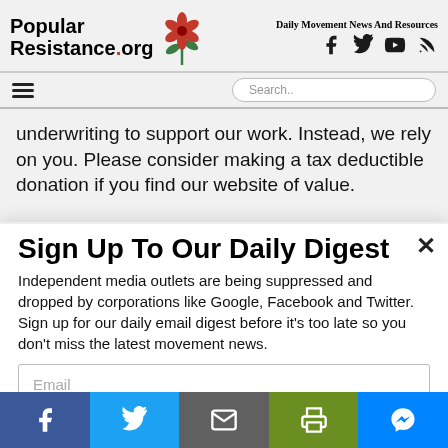Popular Resistance.org — Daily Movement News And Resources
underwriting to support our work. Instead, we rely on you. Please consider making a tax deductible donation if you find our website of value.
Sign Up To Our Daily Digest
Independent media outlets are being suppressed and dropped by corporations like Google, Facebook and Twitter. Sign up for our daily email digest before it's too late so you don't miss the latest movement news.
Email